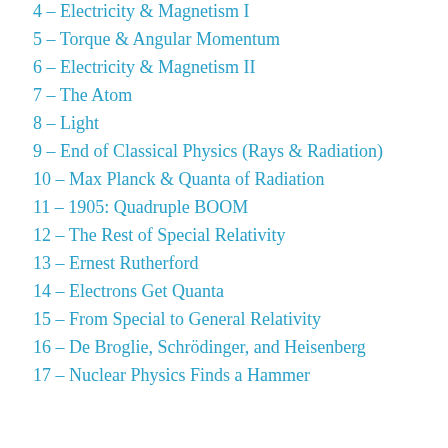4 – Electricity & Magnetism I
5 – Torque & Angular Momentum
6 – Electricity & Magnetism II
7 – The Atom
8 – Light
9 – End of Classical Physics (Rays & Radiation)
10 – Max Planck & Quanta of Radiation
11 – 1905: Quadruple BOOM
12 – The Rest of Special Relativity
13 – Ernest Rutherford
14 – Electrons Get Quanta
15 – From Special to General Relativity
16 – De Broglie, Schrödinger, and Heisenberg
17 – Nuclear Physics Finds a Hammer